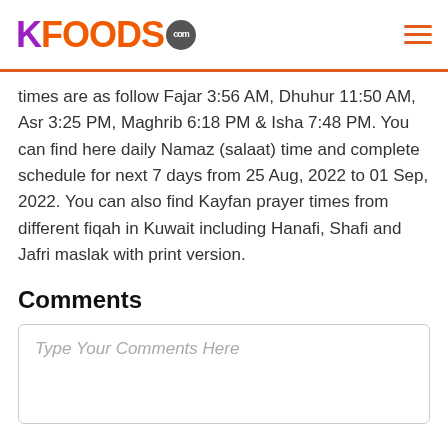KFOODS.com
times are as follow Fajar 3:56 AM, Dhuhur 11:50 AM, Asr 3:25 PM, Maghrib 6:18 PM & Isha 7:48 PM. You can find here daily Namaz (salaat) time and complete schedule for next 7 days from 25 Aug, 2022 to 01 Sep, 2022. You can also find Kayfan prayer times from different fiqah in Kuwait including Hanafi, Shafi and Jafri maslak with print version.
Comments
Type Your Comments Here